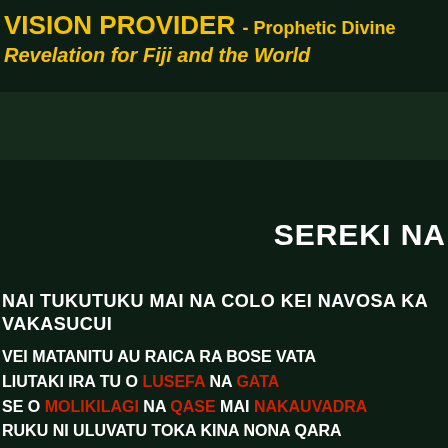VISION PROVIDER - Prophetic Divine Revelation for Fiji and the World
SEREKI NA
NAI TUKUTUKU MAI NA COLO KEI NAVOSA KA VAKASUCUI
VEI MATANITU AU RAICA RA BOSE VATA
LIUTAKI IRA TU O LUSEFA NA GATA
SE O MOLIKILAGI NA QASE MAI NAKAUVADRA
RUKU NI ULUVATU TOKA KINA NONA QARA
AU RAICA SA DARE ENA YACO VAKA TAMATA